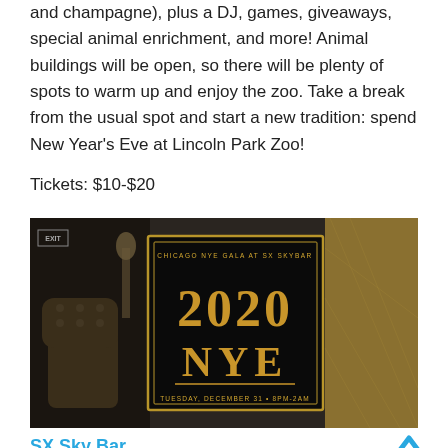and champagne), plus a DJ, games, giveaways, special animal enrichment, and more! Animal buildings will be open, so there will be plenty of spots to warm up and enjoy the zoo. Take a break from the usual spot and start a new tradition: spend New Year's Eve at Lincoln Park Zoo!
Tickets: $10-$20
[Figure (photo): Chicago NYE Gala at SX Skybar promotional image showing 2020 NYE in gold text on black background, Tuesday, December 31 • 8PM-2AM]
SX Sky Bar
Ring in the New Year at Chicago's hottest new venue, SX